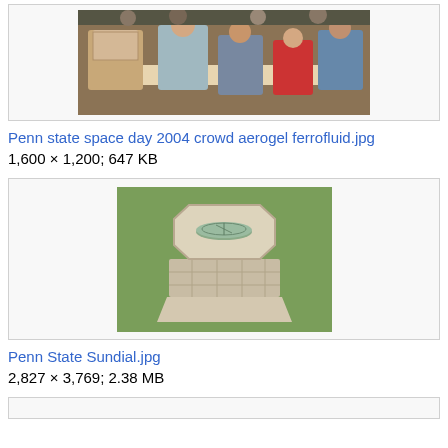[Figure (photo): Photo of a crowd at Penn State Space Day 2004 showing people gathered around a table, with a man in a checkered shirt and children including one in a red shirt examining aerogel or ferrofluid.]
Penn state space day 2004 crowd aerogel ferrofluid.jpg
1,600 × 1,200; 647 KB
[Figure (photo): Photo of the Penn State Sundial, an octagonal stone pedestal with a circular sundial on top, photographed outdoors on grass.]
Penn State Sundial.jpg
2,827 × 3,769; 2.38 MB